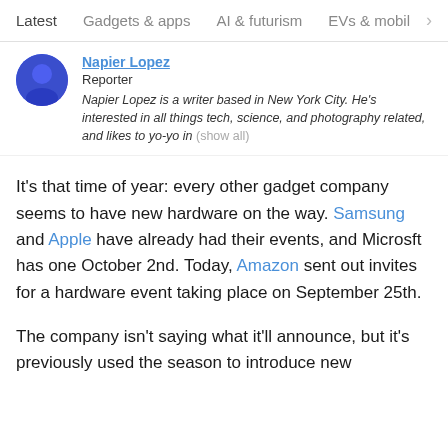Latest   Gadgets & apps   AI & futurism   EVs & mobil  >
Napier Lopez
Reporter
Napier Lopez is a writer based in New York City. He's interested in all things tech, science, and photography related, and likes to yo-yo in (show all)
It’s that time of year: every other gadget company seems to have new hardware on the way. Samsung and Apple have already had their events, and Microsft has one October 2nd. Today, Amazon sent out invites for a hardware event taking place on September 25th.
The company isn’t saying what it’ll announce, but it’s previously used the season to introduce new